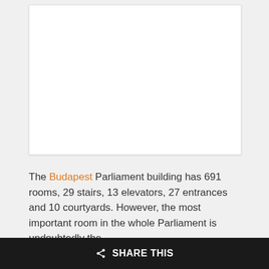[Figure (photo): A blank white rectangular image placeholder area]
The Budapest Parliament building has 691 rooms, 29 stairs, 13 elevators, 27 entrances and 10 courtyards. However, the most important room in the whole Parliament is undoubtedly the
◄ SHARE THIS